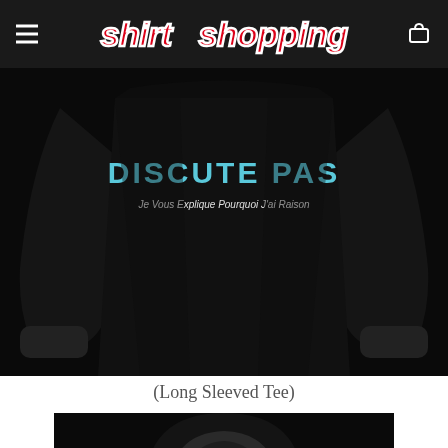shirt shopping
[Figure (photo): Black long sleeved tee/hoodie with French text 'DISCUTE PAS Je Vous Explique Pourquoi J'ai Raison' on the chest]
(Long Sleeved Tee)
[Figure (photo): Black hoodie with Stitch character (blue and pink ears visible) on the chest, showing hood pulled up]